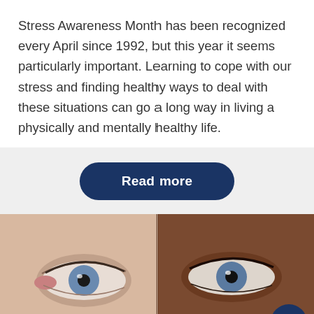Stress Awareness Month has been recognized every April since 1992, but this year it seems particularly important. Learning to cope with our stress and finding healthy ways to deal with these situations can go a long way in living a physically and mentally healthy life.
[Figure (other): A dark navy blue rounded rectangle button with white bold text reading 'Read more']
[Figure (photo): Close-up photograph split showing two pairs of eyes with blue irises — one from a person with lighter skin (left half) and one from a person with darker skin (right half). A dark navy circular scroll-up arrow button is in the bottom right corner.]